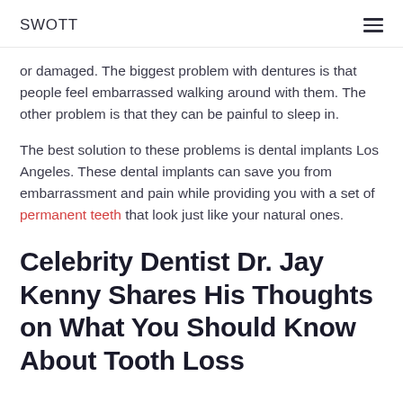SWOTT
or damaged. The biggest problem with dentures is that people feel embarrassed walking around with them. The other problem is that they can be painful to sleep in.
The best solution to these problems is dental implants Los Angeles. These dental implants can save you from embarrassment and pain while providing you with a set of permanent teeth that look just like your natural ones.
Celebrity Dentist Dr. Jay Kenny Shares His Thoughts on What You Should Know About Tooth Loss